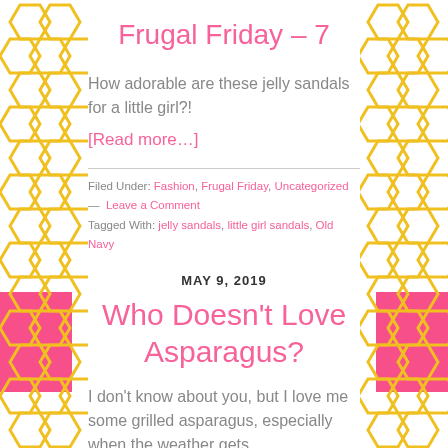Frugal Friday – 7
How adorable are these jelly sandals for a little girl?!
[Read more…]
Filed Under: Fashion, Frugal Friday, Uncategorized — Leave a Comment
Tagged With: jelly sandals, little girl sandals, Old Navy
MAY 9, 2019
Who Doesn't Love Asparagus?
I don't know about you, but I love me some grilled asparagus, especially when the weather gets